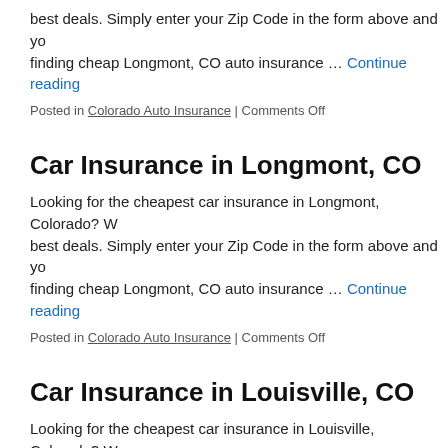best deals. Simply enter your Zip Code in the form above and you finding cheap Longmont, CO auto insurance … Continue reading
Posted in Colorado Auto Insurance | Comments Off
Car Insurance in Longmont, CO
Looking for the cheapest car insurance in Longmont, Colorado? W best deals. Simply enter your Zip Code in the form above and you finding cheap Longmont, CO auto insurance … Continue reading
Posted in Colorado Auto Insurance | Comments Off
Car Insurance in Louisville, CO
Looking for the cheapest car insurance in Louisville, Colorado? W best deals. Simply enter your Zip Code in the form above and you finding cheap Louisville, CO auto insurance … Continue reading
Posted in Colorado Auto Insurance | Comments Off